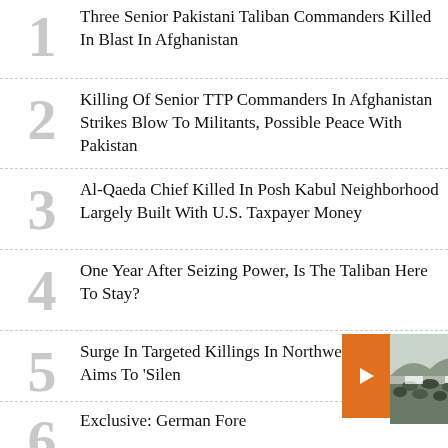1 Three Senior Pakistani Taliban Commanders Killed In Blast In Afghanistan
2 Killing Of Senior TTP Commanders In Afghanistan Strikes Blow To Militants, Possible Peace With Pakistan
3 Al-Qaeda Chief Killed In Posh Kabul Neighborhood Largely Built With U.S. Taxpayer Money
4 One Year After Seizing Power, Is The Taliban Here To Stay?
5 Surge In Targeted Killings In Northwestern Pakistan Aims To 'Silen...
6 Exclusive: German Fore...
[Figure (photo): Crowd photo partially visible at bottom right]
As Figh... Pakista... Of Tali...